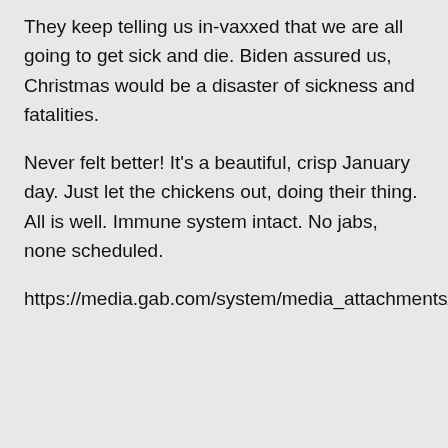They keep telling us in-vaxxed that we are all going to get sick and die. Biden assured us, Christmas would be a disaster of sickness and fatalities.
Never felt better! It's a beautiful, crisp January day. Just let the chickens out, doing their thing. All is well. Immune system intact. No jabs, none scheduled.
https://media.gab.com/system/media_attachments/files/095/139/310/original/1e45a4d9d0d6dd3b.jpeg